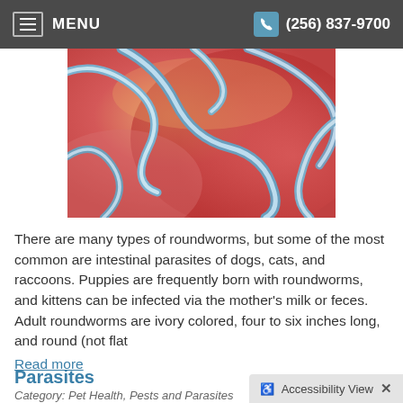MENU | (256) 837-9700
[Figure (photo): Close-up photo of blue/grey roundworms (nematodes) on pink/red tissue background, illustrating intestinal parasites]
There are many types of roundworms, but some of the most common are intestinal parasites of dogs, cats, and raccoons. Puppies are frequently born with roundworms, and kittens can be infected via the mother's milk or feces. Adult roundworms are ivory colored, four to six inches long, and round (not flat
Read more
Parasites
Category: Pet Health, Pests and Parasites